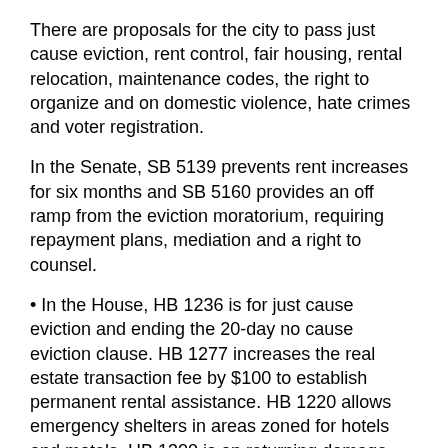There are proposals for the city to pass just cause eviction, rent control, fair housing, rental relocation, maintenance codes, the right to organize and on domestic violence, hate crimes and voter registration.
In the Senate, SB 5139 prevents rent increases for six months and SB 5160 provides an off ramp from the eviction moratorium, requiring repayment plans, mediation and a right to counsel.
• In the House, HB 1236 is for just cause eviction and ending the 20-day no cause eviction clause. HB 1277 increases the real estate transaction fee by $100 to establish permanent rental assistance. HB 1220 allows emergency shelters in areas zoned for hotels and motels. HB 1300 is on returning damage deposits and defining normal wear and tear, so they are not used to replace a 40-year-old appliance.
Jonathan said Catholic Charities programs and resources protect tenants and people who care for people experiencing trauma, mental illness or disability.
Project-based assistance gives a three-year tax credit for